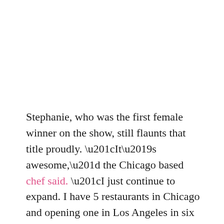Stephanie, who was the first female winner on the show, still flaunts that title proudly. “It’s awesome,” the Chicago based chef said. “I just continue to expand. I have 5 restaurants in Chicago and opening one in Los Angeles in six weeks. I’m a very chef chef so I’m in the restaurants doing all of that stuff. I’m on this fun little ride. It’s been great.”